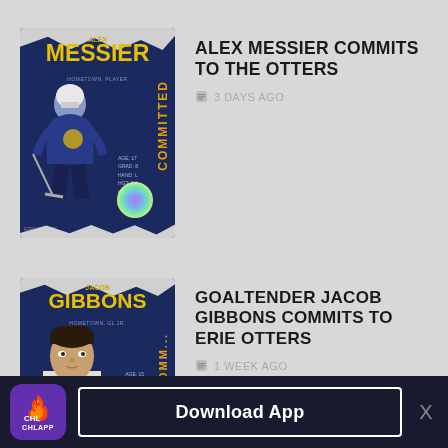[Figure (photo): Hockey player card for Alex Messier showing player in Erie Otters uniform with 'COMMITTED' text and stats, blue and gold design]
ALEX MESSIER COMMITS TO THE OTTERS
3 DAYS AGO
[Figure (photo): Hockey player card for Jacob Gibbons goaltender showing player portrait with 'COMMITTED' text and stats, blue and gold design]
GOALTENDER JACOB GIBBONS COMMITS TO ERIE OTTERS
1 WEEK AGO
Download App  CHLAPP  X